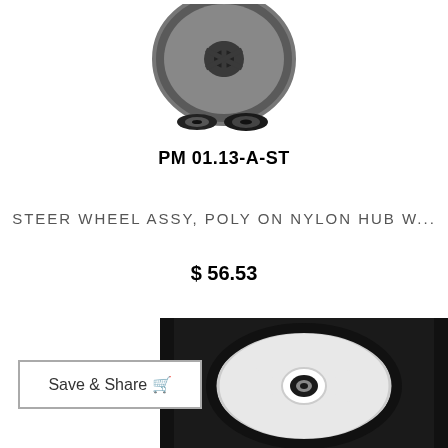[Figure (photo): Product photo of a steering wheel assembly with a dark grey wheel and two black washers/rings below it, on white background]
PM 01.13-A-ST
STEER WHEEL ASSY, POLY ON NYLON HUB W...
$ 56.53
[Figure (photo): Product photo of a white nylon/poly steering wheel with spokes and a centered bearing, on dark background]
Save & Share